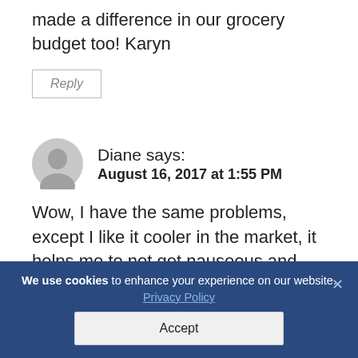made a difference in our grocery budget too! Karyn
Reply
Diane says: August 16, 2017 at 1:55 PM
Wow, I have the same problems, except I like it cooler in the market, it helps me to not get nauseous and faint feeling, I've got a heat intolerance.
We use cookies to enhance your experience on our website. Privacy Policy Accept